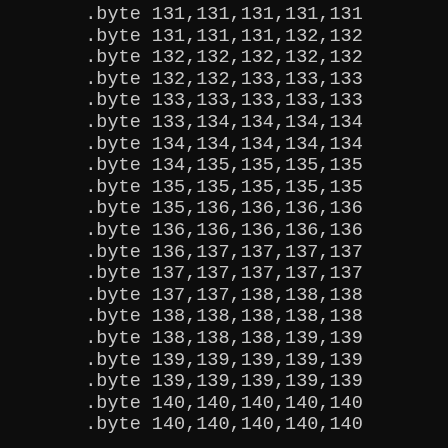.byte 131,131,131,131,131
.byte 131,131,131,132,132
.byte 132,132,132,132,132
.byte 132,132,133,133,133
.byte 133,133,133,133,133
.byte 133,134,134,134,134
.byte 134,134,134,134,134
.byte 134,135,135,135,135
.byte 135,135,135,135,135
.byte 135,136,136,136,136
.byte 136,136,136,136,136
.byte 136,137,137,137,137
.byte 137,137,137,137,137
.byte 137,137,138,138,138
.byte 138,138,138,138,138
.byte 138,138,138,139,139
.byte 139,139,139,139,139
.byte 139,139,139,139,139
.byte 140,140,140,140,140
.byte 140,140,140,140,140